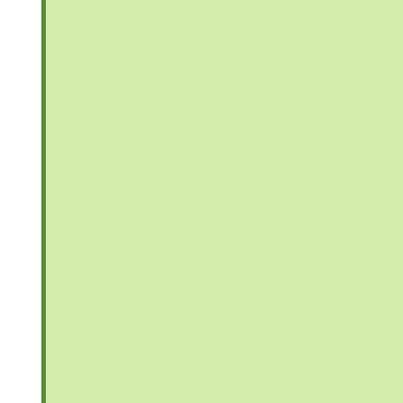“Dumb and Dumbest” (Miss) The A...
“Urbane Comedy One Minute” (Goodr...
“Offering Double the Amount of Fun” (...
“A Revival by any other Name” (Bonni...
“Pleasure in company of women” (Bos...
“Journey to the End of the Earth” (Las...
“Stylish Fun at Expense” (Boston Mar...
“Monarch unmasked through diaries” (...
“Shift of wind needed before Pinafore...
“Watch Me, Watch Me, Vanish” (4:48 P...
“New Director, New Direction” (Adam ...
“Stark beauty lost in chorus line” (Eurip...
“Suffering from Collateral Damage” (E...